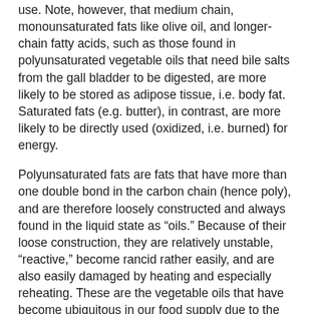use. Note, however, that medium chain, monounsaturated fats like olive oil, and longer-chain fatty acids, such as those found in polyunsaturated vegetable oils that need bile salts from the gall bladder to be digested, are more likely to be stored as adipose tissue, i.e. body fat. Saturated fats (e.g. butter), in contrast, are more likely to be directly used (oxidized, i.e. burned) for energy.
Polyunsaturated fats are fats that have more than one double bond in the carbon chain (hence poly), and are therefore loosely constructed and always found in the liquid state as “oils.” Because of their loose construction, they are relatively unstable, “reactive,” become rancid rather easily, and are also easily damaged by heating and especially reheating. These are the vegetable oils that have become ubiquitous in our food supply due to the ability to manufacture them cheaply. But the refining and processing has deleterious effects that are becoming increasingly known and understood. Trans fat is only one example. Trans fats (the artificial kind created in the processing phase to make liquid oils solid and more stable for use in margarine and in manufactured baked goods and cooking) are partially